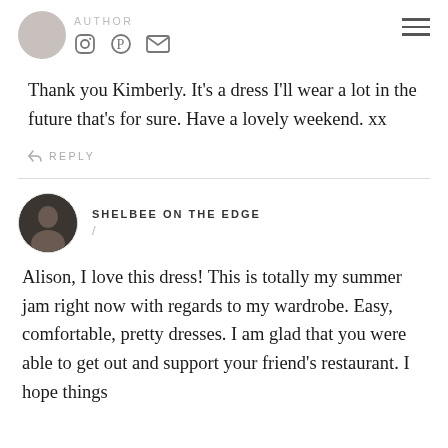AUTHOR (social icons and menu)
Thank you Kimberly. It's a dress I'll wear a lot in the future that's for sure. Have a lovely weekend. xx
↩ REPLY
SHELBEE ON THE EDGE /
Alison, I love this dress! This is totally my summer jam right now with regards to my wardrobe. Easy, comfortable, pretty dresses. I am glad that you were able to get out and support your friend's restaurant. I hope things